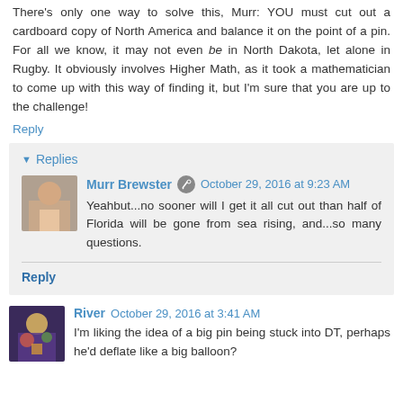There's only one way to solve this, Murr: YOU must cut out a cardboard copy of North America and balance it on the point of a pin. For all we know, it may not even be in North Dakota, let alone in Rugby. It obviously involves Higher Math, as it took a mathematician to come up with this way of finding it, but I'm sure that you are up to the challenge!
Reply
Replies
Murr Brewster  October 29, 2016 at 9:23 AM
Yeahbut...no sooner will I get it all cut out than half of Florida will be gone from sea rising, and...so many questions.
Reply
River  October 29, 2016 at 3:41 AM
I'm liking the idea of a big pin being stuck into DT, perhaps he'd deflate like a big balloon?